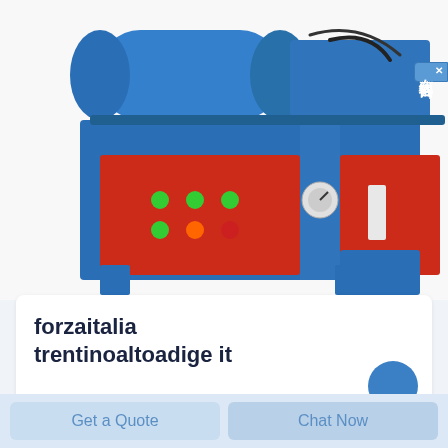[Figure (photo): Industrial machine with blue and red housing, featuring a control panel with green indicator lights and buttons on the red front panel, blue cylindrical components on top, and red side panels. A Chinese online consultation widget appears on the right edge.]
forzaitalia trentinoaltoadige it
Get a Quote
Chat Now